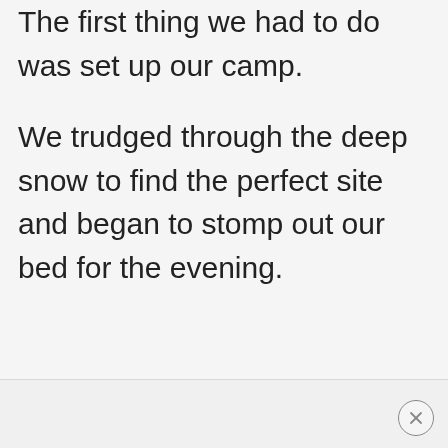The first thing we had to do was set up our camp.
We trudged through the deep snow to find the perfect site and began to stomp out our bed for the evening.